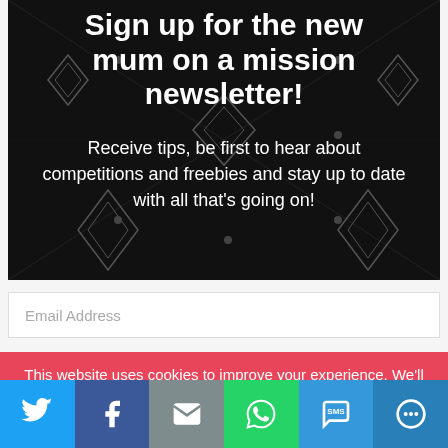[Figure (infographic): Dark banner with diamond pattern background showing newsletter sign-up call to action with title and description text]
Sign up for the new mum on a mission newsletter!
Receive tips, be first to hear about competitions and freebies and stay up to date with all that's going on!
Email Address
This website uses cookies to improve your experience. We'll assume you're ok with this, but you can opt-out if you wish.
[Figure (infographic): Social share bar with Twitter, Facebook, Email, WhatsApp, SMS, and More buttons]